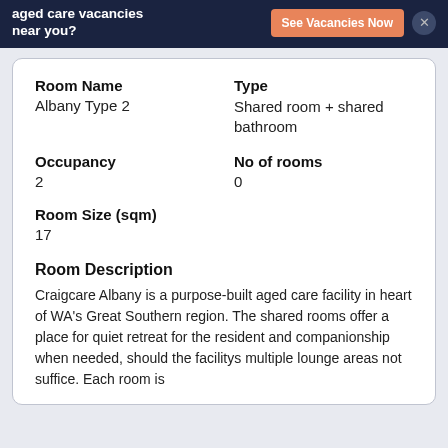aged care vacancies near you? See Vacancies Now
Room Name
Albany Type 2
Type
Shared room + shared bathroom
Occupancy
2
No of rooms
0
Room Size (sqm)
17
Room Description
Craigcare Albany is a purpose-built aged care facility in heart of WA's Great Southern region. The shared rooms offer a place for quiet retreat for the resident and companionship when needed, should the facilitys multiple lounge areas not suffice. Each room is